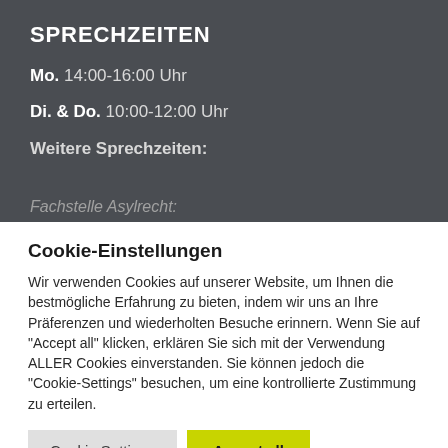SPRECHZEITEN
Mo. 14:00-16:00 Uhr
Di. & Do. 10:00-12:00 Uhr
Weitere Sprechzeiten:
Fachstelle Asylrecht:
Cookie-Einstellungen
Wir verwenden Cookies auf unserer Website, um Ihnen die bestmögliche Erfahrung zu bieten, indem wir uns an Ihre Präferenzen und wiederholten Besuche erinnern. Wenn Sie auf "Accept all" klicken, erklären Sie sich mit der Verwendung ALLER Cookies einverstanden. Sie können jedoch die "Cookie-Settings" besuchen, um eine kontrollierte Zustimmung zu erteilen.
Cookie Settings
Accept all